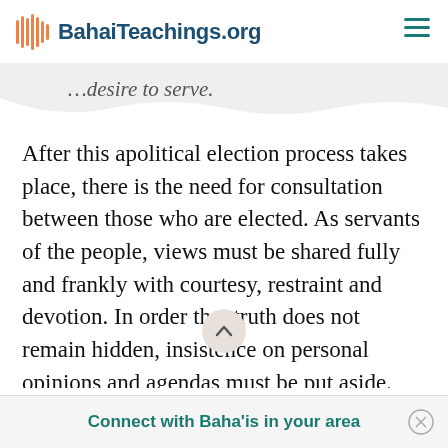BahaiTeachings.org
…desire to serve.
After this apolitical election process takes place, there is the need for consultation between those who are elected. As servants of the people, views must be shared fully and frankly with courtesy, restraint and devotion. In order that truth does not remain hidden, insistence on personal opinions and agendas must be put aside. When a decision has been made, it is to be supported wholeheartedly and not undermined or sabotaged in any way. There must be detachment from the
Connect with Baha'is in your area